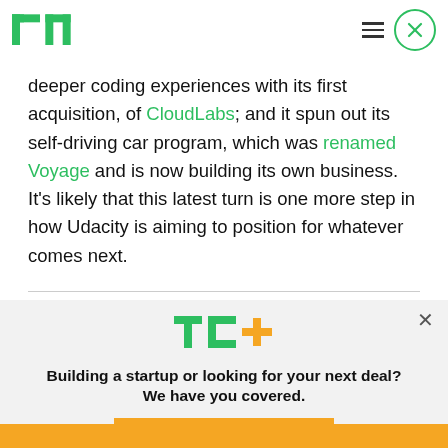TechCrunch logo, hamburger menu, close button
deeper coding experiences with its first acquisition, of CloudLabs; and it spun out its self-driving car program, which was renamed Voyage and is now building its own business. It's likely that this latest turn is one more step in how Udacity is aiming to position for whatever comes next.
[Figure (logo): TechCrunch TC+ logo in green and gold]
Building a startup or looking for your next deal? We have you covered.
EXPLORE NOW